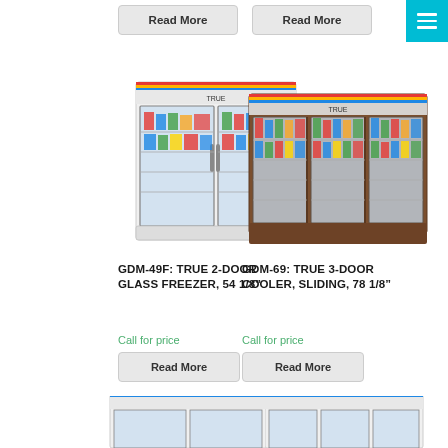[Figure (other): Read More button (top left)]
[Figure (other): Read More button (top right)]
[Figure (photo): GDM-49F True 2-Door Glass Freezer product photo]
GDM-49F: TRUE 2-DOOR GLASS FREEZER, 54 1/8”
Call for price
[Figure (other): Read More button for GDM-49F]
[Figure (photo): GDM-69 True 3-Door Cooler Sliding product photo]
GDM-69: TRUE 3-DOOR COOLER, SLIDING, 78 1/8”
Call for price
[Figure (other): Read More button for GDM-69]
[Figure (photo): Partial product image bottom left]
[Figure (photo): Partial product image bottom right]